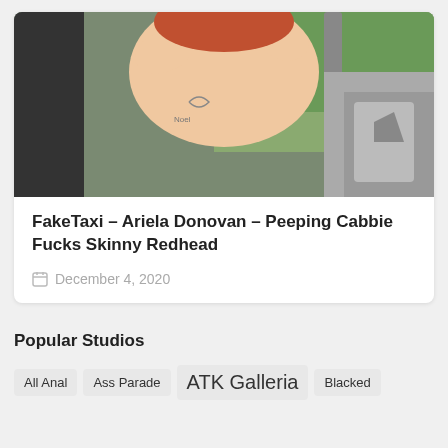[Figure (photo): A woman with tattoos photographed inside a car, partially undressed, with greenery visible through the window and a guitar case in the background.]
FakeTaxi – Ariela Donovan – Peeping Cabbie Fucks Skinny Redhead
December 4, 2020
Popular Studios
All Anal
Ass Parade
ATK Galleria
Blacked